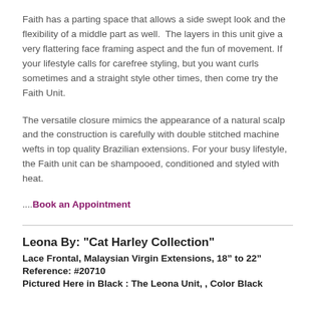Faith has a parting space that allows a side swept look and the flexibility of a middle part as well.  The layers in this unit give a very flattering face framing aspect and the fun of movement. If your lifestyle calls for carefree styling, but you want curls sometimes and a straight style other times, then come try the Faith Unit.
The versatile closure mimics the appearance of a natural scalp and the construction is carefully with double stitched machine wefts in top quality Brazilian extensions. For your busy lifestyle, the Faith unit can be shampooed, conditioned and styled with heat.
....Book an Appointment
Leona By: "Cat Harley Collection"
Lace Frontal, Malaysian Virgin Extensions, 18” to 22”
Reference: #20710
Pictured Here in Black : The Leona Unit, , Color Black